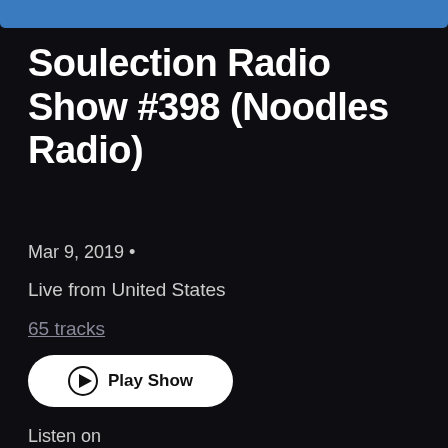[Figure (screenshot): Blue top bar / album art cropped strip at top of screen]
Soulection Radio Show #398 (Noodles Radio)
Mar 9, 2019 •
Live from United States
65 tracks
[Figure (other): Play Show button with play icon]
Listen on
[Figure (other): Apple Music and SoundCloud circular icons]